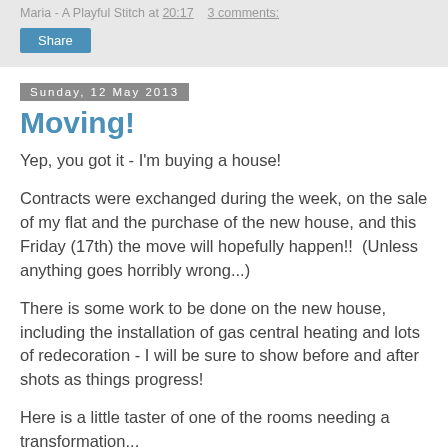Maria - A Playful Stitch at 20:17    3 comments:
Share
Sunday, 12 May 2013
Moving!
Yep, you got it - I'm buying a house!
Contracts were exchanged during the week, on the sale of my flat and the purchase of the new house, and this Friday (17th) the move will hopefully happen!!  (Unless anything goes horribly wrong...)
There is some work to be done on the new house, including the installation of gas central heating and lots of redecoration - I will be sure to show before and after shots as things progress!
Here is a little taster of one of the rooms needing a transformation...